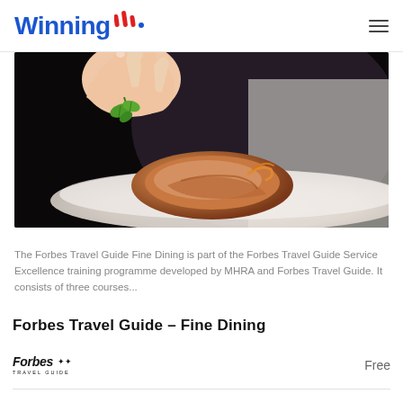Winning
[Figure (photo): Close-up photo of a chef's hand placing a fresh basil garnish on a plated meat dish on a white plate, fine dining presentation]
The Forbes Travel Guide Fine Dining is part of the Forbes Travel Guide Service Excellence training programme developed by MHRA and Forbes Travel Guide. It consists of three courses...
Forbes Travel Guide – Fine Dining
Forbes Travel Guide   Free